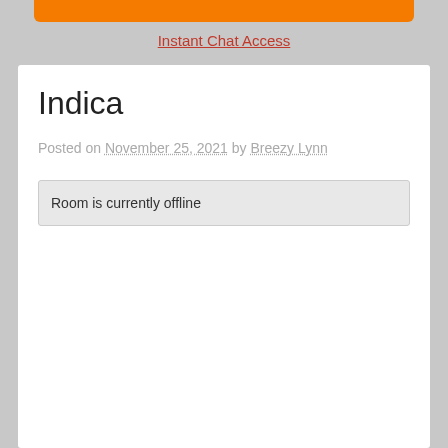Instant Chat Access
Indica
Posted on November 25, 2021 by Breezy Lynn
Room is currently offline